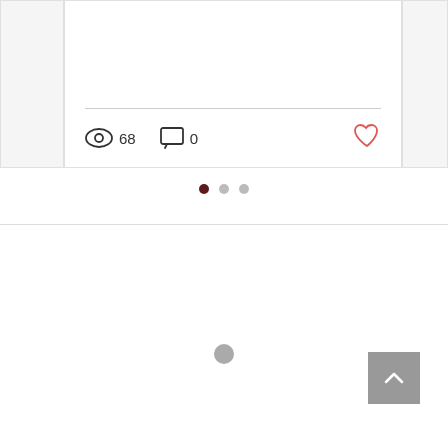[Figure (screenshot): Social media post card bottom section showing a divider line, view count icon with '68', comment icon with '0', and a red heart/like icon]
[Figure (other): Pagination indicator with three dots: first dot active (dark), second and third dots inactive (grey)]
[Figure (other): Loading spinner represented as a single grey circle in the center of the page]
[Figure (other): Back-to-top button: grey square with upward chevron arrow, positioned bottom-right]